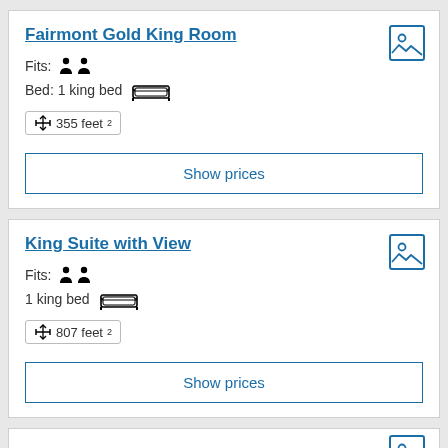Fairmont Gold King Room
Fits: (2 person icons)
Bed: 1 king bed (bed icon)
355 feet²
Show prices
King Suite with View
Fits: (2 person icons)
1 king bed (bed icon)
807 feet²
Show prices